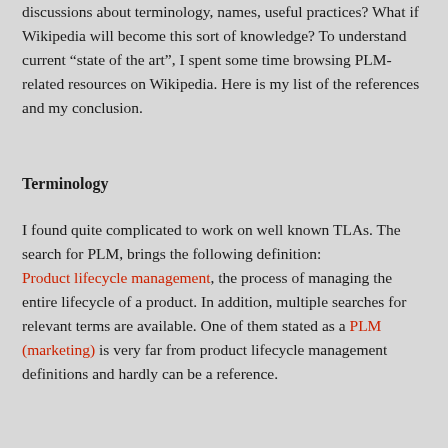discussions about terminology, names, useful practices? What if Wikipedia will become this sort of knowledge? To understand current “state of the art”, I spent some time browsing PLM-related resources on Wikipedia. Here is my list of the references and my conclusion.
Terminology
I found quite complicated to work on well known TLAs. The search for PLM, brings the following definition:
Product lifecycle management, the process of managing the entire lifecycle of a product. In addition, multiple searches for relevant terms are available. One of them stated as a PLM (marketing) is very far from product lifecycle management definitions and hardly can be a reference.